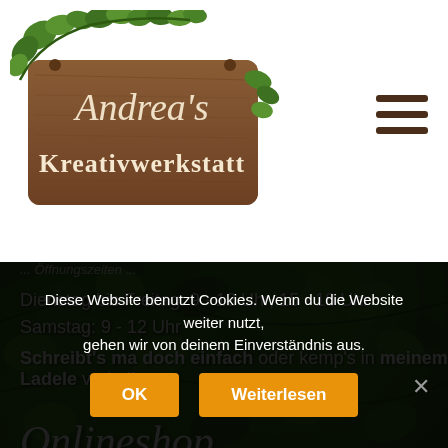[Figure (logo): Andrea's Kreativwerkstatt wooden sign logo with ivy leaves decoration]
Dienstag bis Freitag: 9 - 12 Uhr, 15 - 18 Uhr
Samstag: 9 - 12 Uhr
Schreibt's ma doch einfach oder kemp's in meinem Ladele vorbei!
Onlineshop
In Kürze ist es soweit … rund um die Uhr steht unsere kreative Welt verpackt in einem tollen Onlinestore zur Verfügung! Das Warten hat
Diese Website benutzt Cookies. Wenn du die Website weiter nutzt, gehen wir von deinem Einverständnis aus.